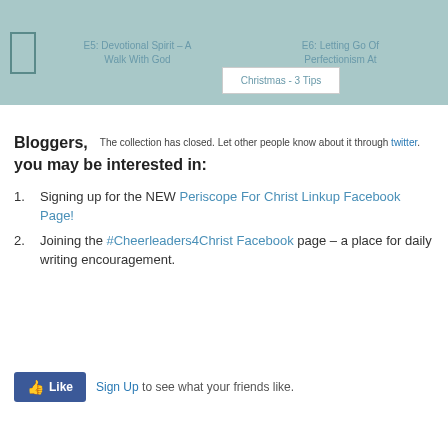E5: Devotional Spirit – A Walk With God | E6: Letting Go Of Perfectionism At Christmas - 3 Tips
Bloggers, The collection has closed. Let other people know about it through twitter.
you may be interested in:
Signing up for the NEW Periscope For Christ Linkup Facebook Page!
Joining the #Cheerleaders4Christ Facebook page – a place for daily writing encouragement.
[Figure (screenshot): Facebook Like button with Sign Up link and text 'to see what your friends like.']